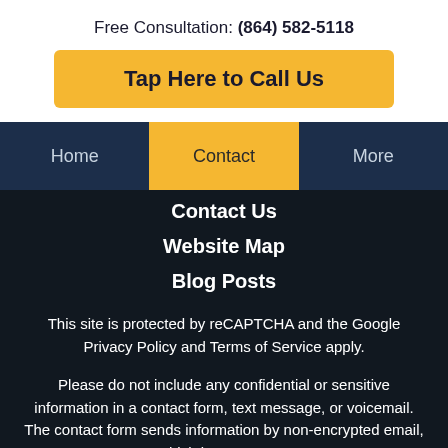Free Consultation: (864) 582-5118
Tap Here to Call Us
Home   Contact   More
Contact Us
Website Map
Blog Posts
This site is protected by reCAPTCHA and the Google Privacy Policy and Terms of Service apply.
Please do not include any confidential or sensitive information in a contact form, text message, or voicemail. The contact form sends information by non-encrypted email, which is not secure.